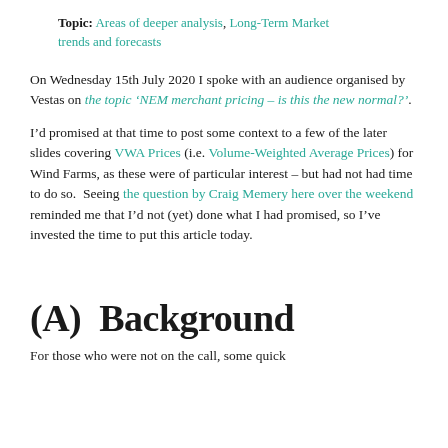Topic: Areas of deeper analysis, Long-Term Market trends and forecasts
On Wednesday 15th July 2020 I spoke with an audience organised by Vestas on the topic ‘NEM merchant pricing – is this the new normal?’.
I’d promised at that time to post some context to a few of the later slides covering VWA Prices (i.e. Volume-Weighted Average Prices) for Wind Farms, as these were of particular interest – but had not had time to do so. Seeing the question by Craig Memery here over the weekend reminded me that I’d not (yet) done what I had promised, so I’ve invested the time to put this article today.
(A)  Background
For those who were not on the call, some quick